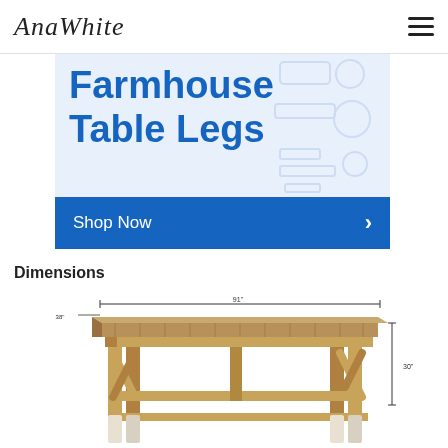AnaWhite
[Figure (infographic): Ad banner for Farmhouse Table Legs with Shop Now button. Blue text on light blue background with faint tool/furniture icons on the right.]
Dimensions
[Figure (engineering-diagram): Technical dimension drawing of a farmhouse dining table showing front elevation with width and height dimension arrows. Table has decorative X-brace legs and slatted top surface in light brown/tan color.]